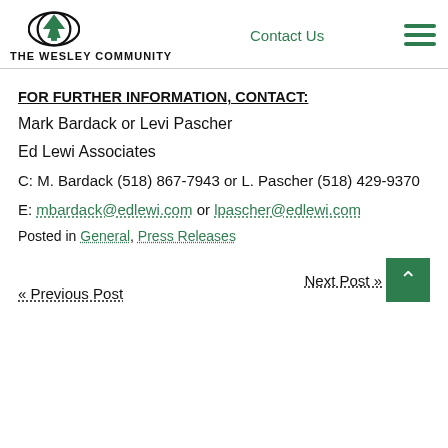The Wesley Community | Contact Us
FOR FURTHER INFORMATION, CONTACT:
Mark Bardack or Levi Pascher
Ed Lewi Associates
C: M. Bardack (518) 867-7943 or L. Pascher (518) 429-9370
E: mbardack@edlewi.com or lpascher@edlewi.com
Posted in General, Press Releases
« Previous Post
Next Post »